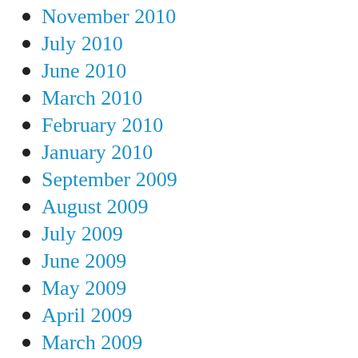November 2010
July 2010
June 2010
March 2010
February 2010
January 2010
September 2009
August 2009
July 2009
June 2009
May 2009
April 2009
March 2009
February 2009
November 2008
October 2008